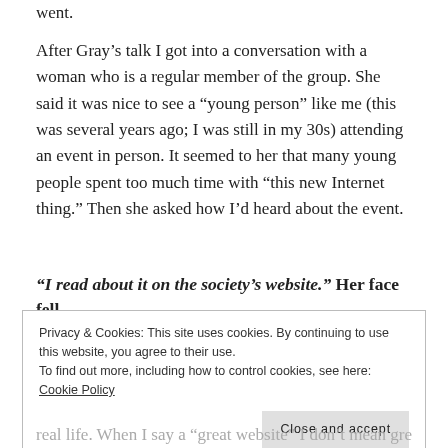went.
After Gray’s talk I got into a conversation with a woman who is a regular member of the group. She said it was nice to see a “young person” like me (this was several years ago; I was still in my 30s) attending an event in person. It seemed to her that many young people spent too much time with “this new Internet thing.” Then she asked how I’d heard about the event.
“I read about it on the society’s website.” Her face fell.
Privacy & Cookies: This site uses cookies. By continuing to use this website, you agree to their use.
To find out more, including how to control cookies, see here: Cookie Policy
Close and accept
real life. When I say a “great website” I don’t mean great